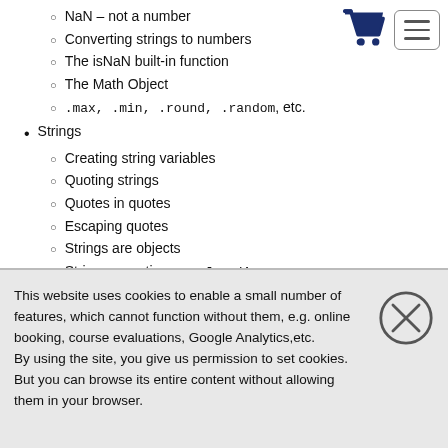NaN – not a number (implied, cut off at top)
Converting strings to numbers
The isNaN built-in function
The Math Object
.max, .min, .round, .random, etc.
Strings
Creating string variables
Quoting strings
Quotes in quotes
Escaping quotes
Strings are objects
String properties e.g. .length
String methods – e.g. .toUpperCase, .toLowerCase, .split, .indexOf, .lastIndexOf,
This website uses cookies to enable a small number of features, which cannot function without them, e.g. online booking, course evaluations, Google Analytics,etc.
By using the site, you give us permission to set cookies.
But you can browse its entire content without allowing them in your browser.